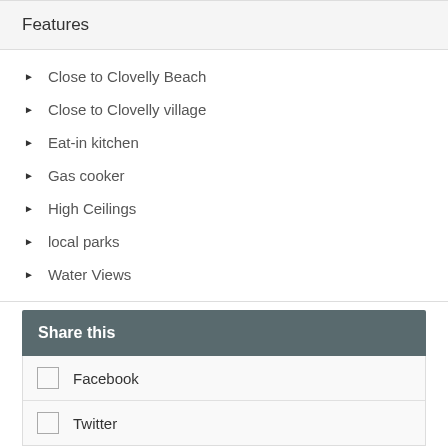Features
Close to Clovelly Beach
Close to Clovelly village
Eat-in kitchen
Gas cooker
High Ceilings
local parks
Water Views
Share this
Facebook
Twitter